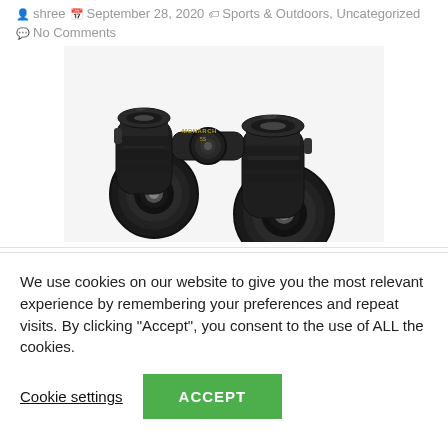shree  September 28, 2020  Sports & Outdoors, Uncategorized  No Comments
[Figure (photo): Nikon Monarch binoculars, black, shown at an angle with two barrels visible, product photo on white background]
We use cookies on our website to give you the most relevant experience by remembering your preferences and repeat visits. By clicking "Accept", you consent to the use of ALL the cookies.
Cookie settings   ACCEPT